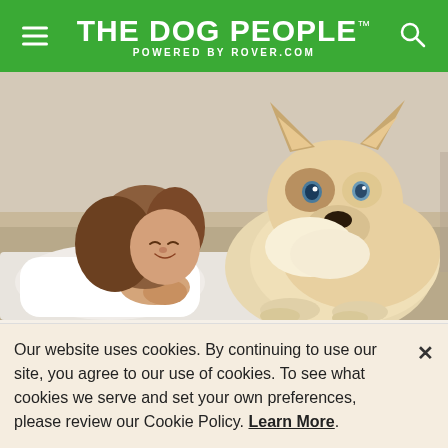THE DOG PEOPLE™ POWERED BY ROVER.COM
[Figure (photo): A young woman lying on the floor face-to-face with a fluffy Siberian Husky puppy. The puppy has its tongue out. Indoor setting with natural light.]
Does My Dog Think I'm a
Our website uses cookies. By continuing to use our site, you agree to our use of cookies. To see what cookies we serve and set your own preferences, please review our Cookie Policy. Learn More.